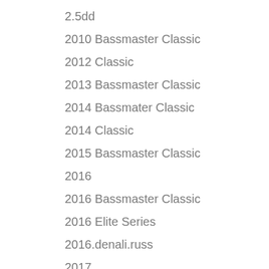2.5dd
2010 Bassmaster Classic
2012 Classic
2013 Bassmaster Classic
2014 Bassmater Classic
2014 Classic
2015 Bassmaster Classic
2016
2016 Bassmaster Classic
2016 Elite Series
2016.denali.russ
2017